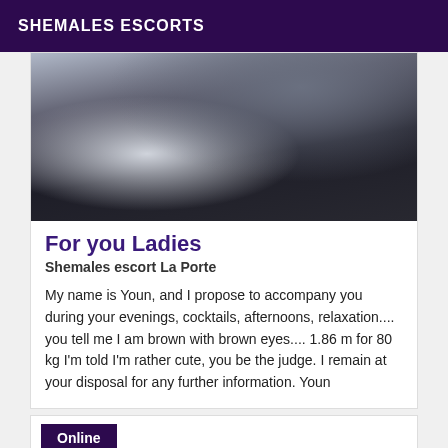SHEMALES ESCORTS
[Figure (photo): Close-up photo of a person wearing a dark jacket, partially cropped, showing the chest/shoulder area against a light background.]
For you Ladies
Shemales escort La Porte
My name is Youn, and I propose to accompany you during your evenings, cocktails, afternoons, relaxation.... you tell me I am brown with brown eyes.... 1.86 m for 80 kg I'm told I'm rather cute, you be the judge. I remain at your disposal for any further information. Youn
Online